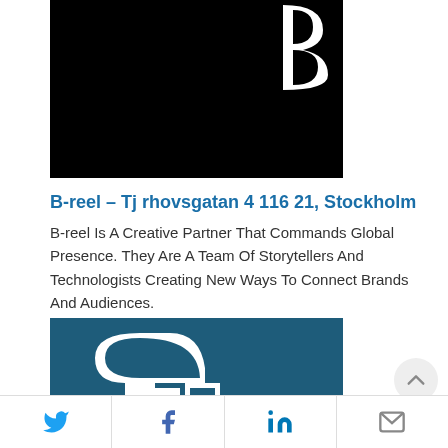[Figure (logo): Black background with white letter B logo for B-reel company]
B-reel – Tj rhovsgatan 4 116 21, Stockholm
B-reel Is A Creative Partner That Commands Global Presence. They Are A Team Of Storytellers And Technologists Creating New Ways To Connect Brands And Audiences.
[Figure (logo): Dark teal/blue background with white stylized letter A logo]
Twitter | Facebook | LinkedIn | Email social sharing bar